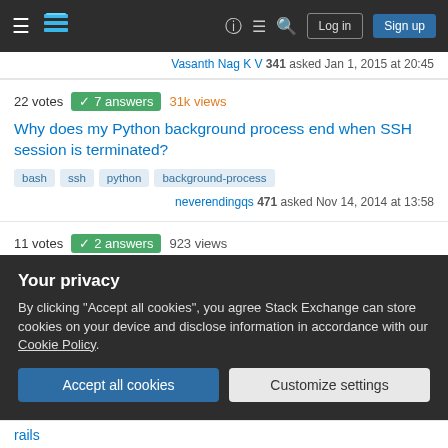Stack Overflow navigation bar with hamburger menu, logo, help, chat, search icons, Log in and Sign up buttons
Vasanth Nag K V 341 asked Jan 1, 2015 at 20:45
22 votes ✓ 7 answers 31k views
Why does my Python background process end when SSH session is terminated?
bash
ssh
python
background-process
neverendingqs 471 asked Nov 14, 2014 at 13:58
11 votes ✓ 2 answers 923 views
unable to remount filesystem back to read-only after package upgrade
Your privacy
By clicking "Accept all cookies", you agree Stack Exchange can store cookies on your device and disclose information in accordance with our Cookie Policy.
Accept all cookies
Customize settings
rails